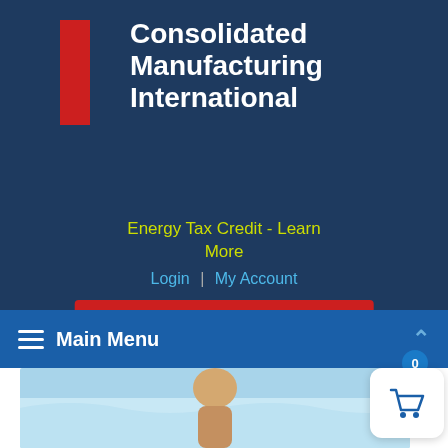[Figure (logo): Consolidated Manufacturing International logo with red L-shaped bracket icon and white bold text on dark navy background]
View Our Products
Energy Tax Credit - Learn More
Login | My Account
Main Menu
[Figure (photo): Person near a pool or water, partially visible at bottom of page]
[Figure (other): Shopping cart widget with badge showing 0 items]